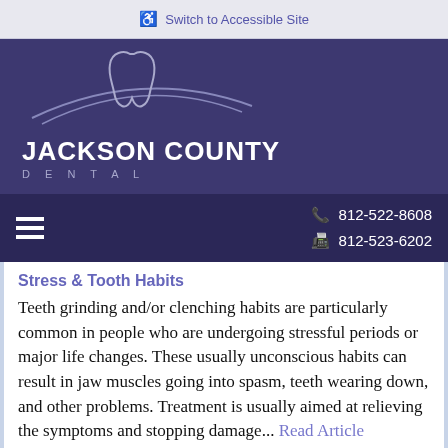Switch to Accessible Site
[Figure (logo): Jackson County Dental logo with tooth illustration and practice name]
812-522-8608  812-523-6202
Stress & Tooth Habits
Teeth grinding and/or clenching habits are particularly common in people who are undergoing stressful periods or major life changes. These usually unconscious habits can result in jaw muscles going into spasm, teeth wearing down, and other problems. Treatment is usually aimed at relieving the symptoms and stopping damage... Read Article